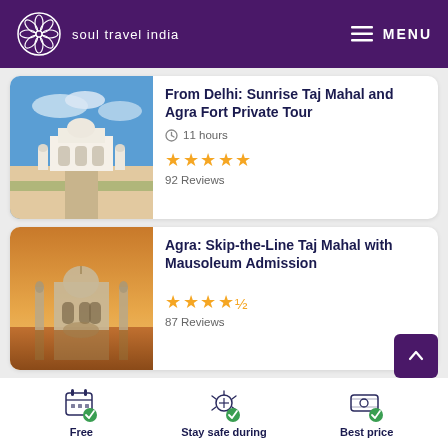soul travel india — MENU
From Delhi: Sunrise Taj Mahal and Agra Fort Private Tour
11 hours
★★★★★ 92 Reviews
Agra: Skip-the-Line Taj Mahal with Mausoleum Admission
★★★★½ 87 Reviews
Free | Stay safe during | Best price